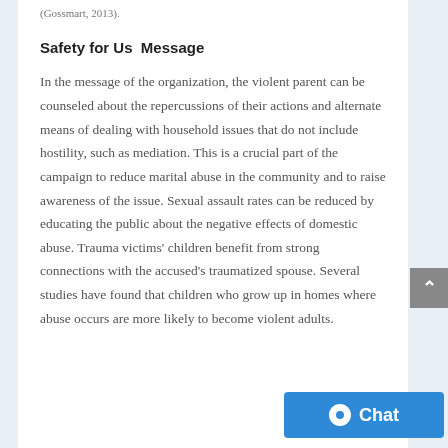(Gossmart, 2013).
Safety for Us  Message
In the message of the organization, the violent parent can be counseled about the repercussions of their actions and alternate means of dealing with household issues that do not include hostility, such as mediation. This is a crucial part of the campaign to reduce marital abuse in the community and to raise awareness of the issue. Sexual assault rates can be reduced by educating the public about the negative effects of domestic abuse. Trauma victims' children benefit from strong connections with the accused's traumatized spouse. Several studies have found that children who grow up in homes where abuse occurs are more likely to become violent adults.